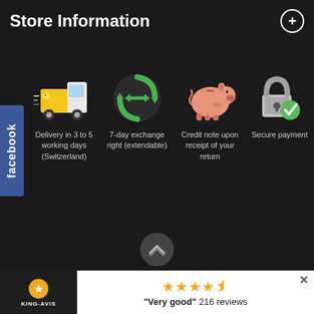Store Information
[Figure (infographic): Facebook tab on left side]
[Figure (illustration): Delivery truck cartoon icon]
Delivery in 3 to 5 working days (Switzerland)
[Figure (illustration): Green recycling/exchange arrows icon]
7-day exchange right (extendable)
[Figure (illustration): Pink piggy bank icon]
Credit note upon receipt of your return
[Figure (illustration): Padlock with green checkmark icon - Secure payment]
Secure payment
[Figure (illustration): Scroll up arrow button]
[Figure (logo): KING-AVIS logo with orange icon]
"Very good" 216 reviews